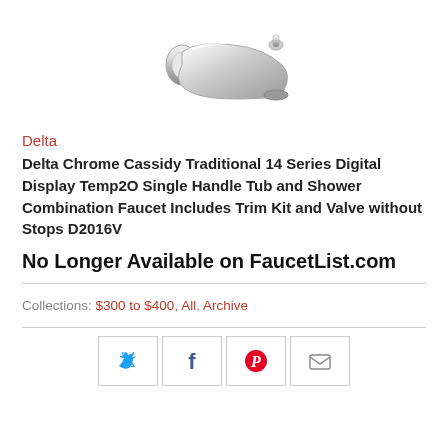[Figure (photo): Chrome tub spout faucet product photo on white background]
Delta
Delta Chrome Cassidy Traditional 14 Series Digital Display Temp2O Single Handle Tub and Shower Combination Faucet Includes Trim Kit and Valve without Stops D2016V
No Longer Available on FaucetList.com
Collections: $300 to $400, All, Archive